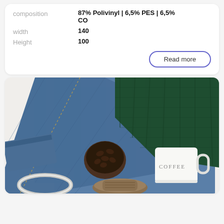| Property | Value |
| --- | --- |
| composition | 87% Polivinyl | 6,5% PES | 6,5% CO |
| width | 140 |
| Height | 100 |
Read more
[Figure (photo): Flat lay of blue jeans, dark green knit sweater, a bowl of coffee beans, a white COFFEE mug, a silver bangle bracelet, and a decorated shoe on a white background.]